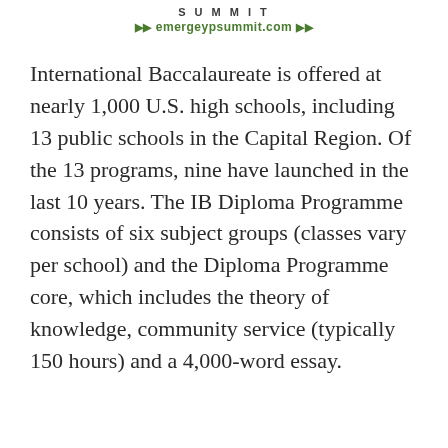SUMMIT ▶▶ emergeypsummit.com ▶▶
International Baccalaureate is offered at nearly 1,000 U.S. high schools, including 13 public schools in the Capital Region. Of the 13 programs, nine have launched in the last 10 years. The IB Diploma Programme consists of six subject groups (classes vary per school) and the Diploma Programme core, which includes the theory of knowledge, community service (typically 150 hours) and a 4,000-word essay.